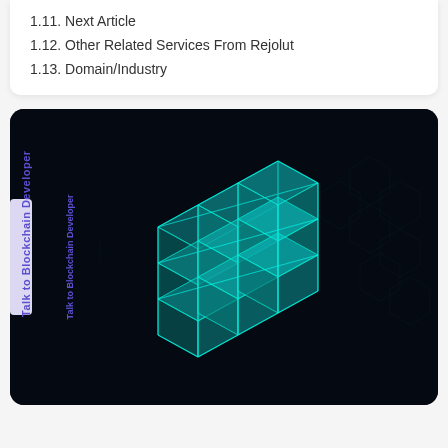1.11. Next Article
1.12. Other Related Services From Rejolut
1.13. Domain/Industry
[Figure (illustration): Dark background with a glowing cyan/teal isometric blockchain cube structure made of interconnected 3D boxes forming a grid pattern, with subtle hexagonal network patterns in the background. A vertical purple tab on the left side reads 'Talk to Blockchain Developer'.]